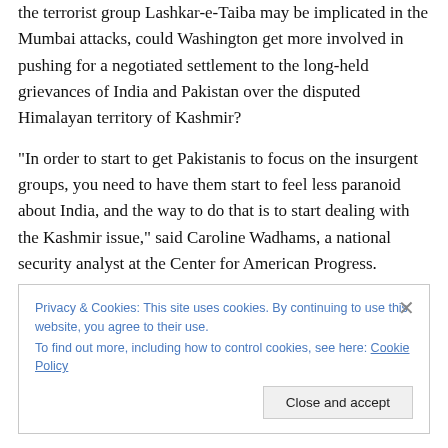the terrorist group Lashkar-e-Taiba may be implicated in the Mumbai attacks, could Washington get more involved in pushing for a negotiated settlement to the long-held grievances of India and Pakistan over the disputed Himalayan territory of Kashmir?
“In order to start to get Pakistanis to focus on the insurgent groups, you need to have them start to feel less paranoid about India, and the way to do that is to start dealing with the Kashmir issue,” said Caroline Wadhams, a national security analyst at the Center for American Progress.
Privacy & Cookies: This site uses cookies. By continuing to use this website, you agree to their use.
To find out more, including how to control cookies, see here: Cookie Policy